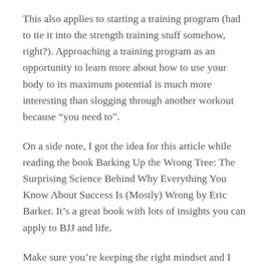This also applies to starting a training program (had to tie it into the strength training stuff somehow, right?). Approaching a training program as an opportunity to learn more about how to use your body to its maximum potential is much more interesting than slogging through another workout because “you need to”.
On a side note, I got the idea for this article while reading the book Barking Up the Wrong Tree: The Surprising Science Behind Why Everything You Know About Success Is (Mostly) Wrong by Eric Barker. It’s a great book with lots of insights you can apply to BJJ and life.
Make sure you’re keeping the right mindset and I guarantee you’ll enjoy the journey more, which will make you more likely to stick with it. While it’s a tough journey, a little